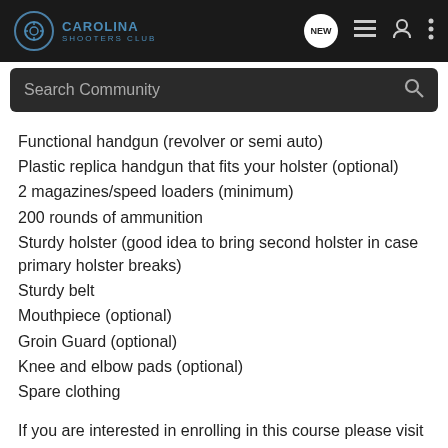Carolina Shooters Club
Functional handgun (revolver or semi auto)
Plastic replica handgun that fits your holster (optional)
2 magazines/speed loaders (minimum)
200 rounds of ammunition
Sturdy holster (good idea to bring second holster in case primary holster breaks)
Sturdy belt
Mouthpiece (optional)
Groin Guard (optional)
Knee and elbow pads (optional)
Spare clothing
If you are interested in enrolling in this course please visit our website and sign up via our online enrollment process.